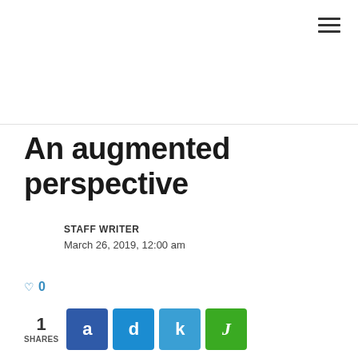An augmented perspective
STAFF WRITER
March 26, 2019, 12:00 am
0
1 SHARES